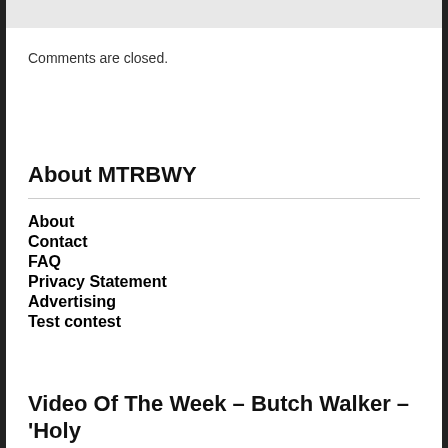[Figure (other): Light gray image strip at top of page]
Comments are closed.
About MTRBWY
About
Contact
FAQ
Privacy Statement
Advertising
Test contest
Video Of The Week – Butch Walker – 'Holy